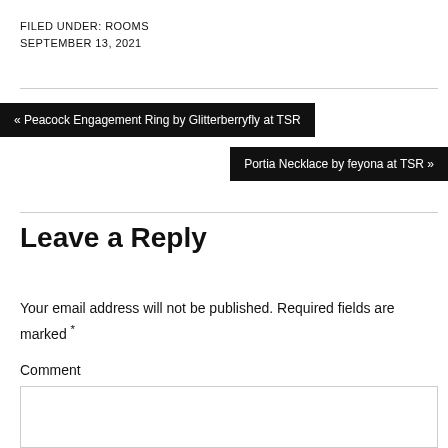FILED UNDER: ROOMS
SEPTEMBER 13, 2021
« Peacock Engagement Ring by Glitterberryfly at TSR
Portia Necklace by feyona at TSR »
Leave a Reply
Your email address will not be published. Required fields are marked *
Comment